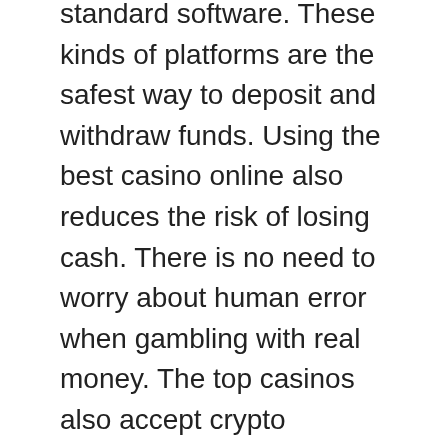standard software. These kinds of platforms are the safest way to deposit and withdraw funds. Using the best casino online also reduces the risk of losing cash. There is no need to worry about human error when gambling with real money. The top casinos also accept crypto currencies like Bitcoin that is growing in popularity. These currencies are not accepted by all casinos on the internet.
For deposits, most players can use credit cards and debit cards. Some casinos have an amount for deposits or an additional fee. If you do not have an urgent need you can send an send an email or chat. You can find a broad range of deposit options at the top online casinos. Some of